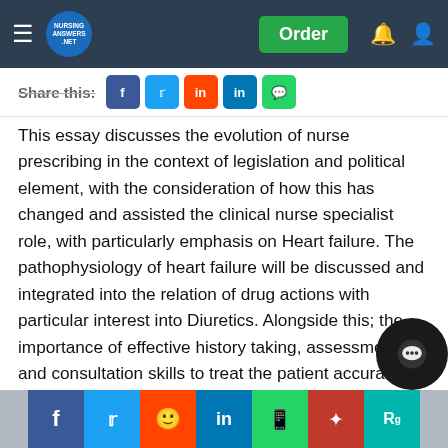Nursing Answers — Order
Share this:
This essay discusses the evolution of nurse prescribing in the context of legislation and political element, with the consideration of how this has changed and assisted the clinical nurse specialist role, with particularly emphasis on Heart failure. The pathophysiology of heart failure will be discussed and integrated into the relation of drug actions with particular interest into Diuretics. Alongside this; the importance of effective history taking, assessment and consultation skills to treat the patient accurately and at a high standard and quality is discussed. The decision making process and the importance of a shared approach in relation to heart failure is highlighted incorporating importance of compliance in the maximising the treatment of heart failure.